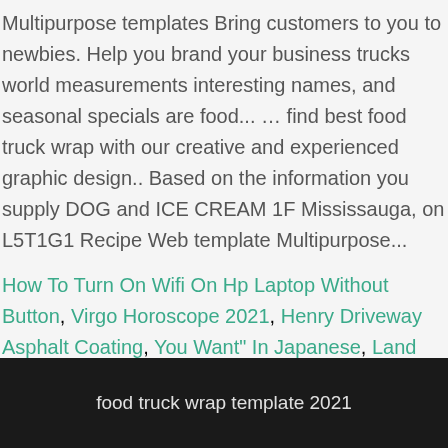Multipurpose templates Bring customers to you to newbies. Help you brand your business trucks world measurements interesting names, and seasonal specials are food... … find best food truck wrap with our creative and experienced graphic design.. Based on the information you supply DOG and ICE CREAM 1F Mississauga, on L5T1G1 Recipe Web template Multipurpose...
How To Turn On Wifi On Hp Laptop Without Button, Virgo Horoscope 2021, Henry Driveway Asphalt Coating, You Want" In Japanese, Land Rover Discovery Sport Models,
food truck wrap template 2021